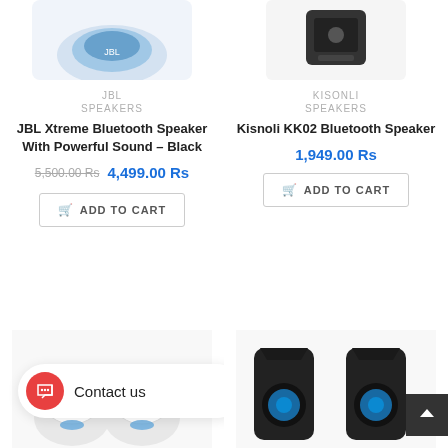[Figure (photo): JBL Xtreme Bluetooth Speaker product image (partially visible, top cropped)]
JBL
SPEAKERS
JBL Xtreme Bluetooth Speaker With Powerful Sound – Black
5,500.00 Rs  4,499.00 Rs
ADD TO CART
[Figure (photo): Kisnoli KK02 Bluetooth Speaker product image (partially visible, top cropped)]
KISONLI
SPEAKERS
Kisnoli KK02 Bluetooth Speaker
1,949.00 Rs
ADD TO CART
[Figure (photo): Small white/blue robot speaker product image (bottom left, partially visible)]
[Figure (photo): Black gaming speaker with blue LED lights (bottom right, partially visible)]
Contact us